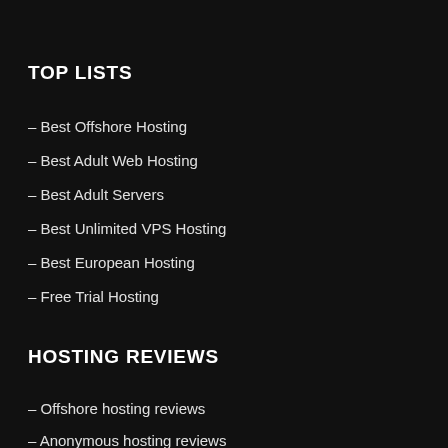TOP LISTS
– Best Offshore Hosting
– Best Adult Web Hosting
– Best Adult Servers
– Best Unlimited VPS Hosting
– Best European Hosting
– Free Trial Hosting
HOSTING REVIEWS
– Offshore hosting reviews
– Anonymous hosting reviews